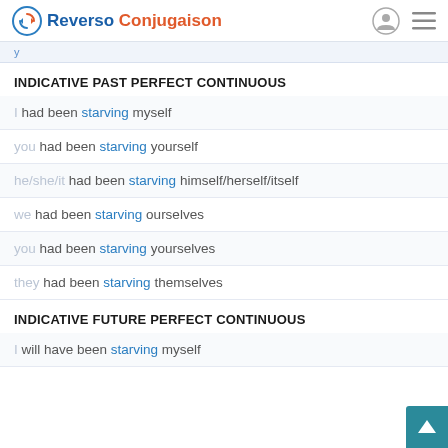Reverso Conjugaison
INDICATIVE PAST PERFECT CONTINUOUS
I had been starving myself
you had been starving yourself
he/she/it had been starving himself/herself/itself
we had been starving ourselves
you had been starving yourselves
they had been starving themselves
INDICATIVE FUTURE PERFECT CONTINUOUS
I will have been starving myself